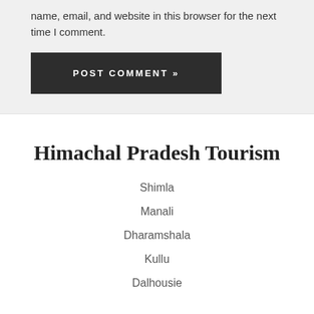name, email, and website in this browser for the next time I comment.
POST COMMENT »
Himachal Pradesh Tourism
Shimla
Manali
Dharamshala
Kullu
Dalhousie